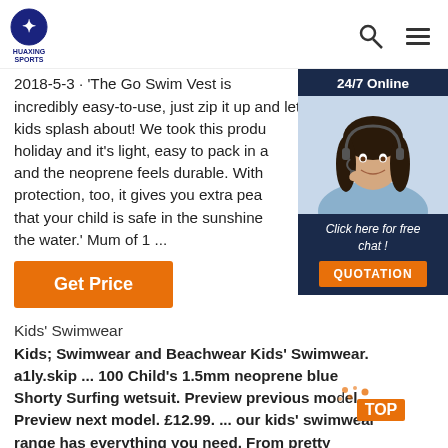HUAXING SPORTS
2018-5-3u2002·u2002'The Go Swim Vest is incredibly easy-to-use, just zip it up and let your kids splash about! We took this product on holiday and it's light, easy to pack in a bag and the neoprene feels durable. With UV protection, too, it gives you extra peace of mind that your child is safe in the sunshine and in the water.' Mum of 1 ...
[Figure (photo): 24/7 Online chat widget with a woman wearing a headset, with 'Click here for free chat!' text and an orange QUOTATION button]
Get Price
Kids' Swimwear
Kids; Swimwear and Beachwear Kids' Swimwear. a1ly.skip ... 100 Child's 1.5mm neoprene blue Shorty Surfing wetsuit. Preview previous model. Preview next model. £12.99. ... our kids' swimwear range has everything you need. From pretty swimming costumes to practical swim shorts, we